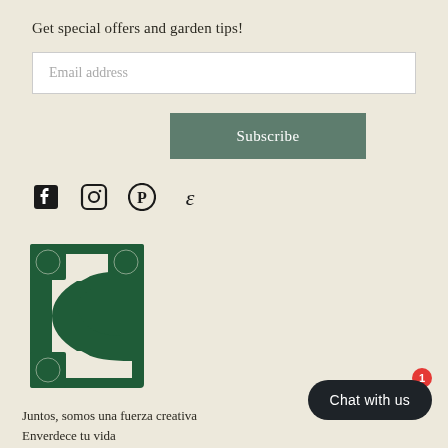Get special offers and garden tips!
Email address
Subscribe
[Figure (other): Social media icons: Facebook, Instagram, Pinterest, Etsy]
[Figure (logo): Decorative green letter C logo with ornate Art Nouveau style flourishes]
Juntos, somos una fuerza creativa
Enverdece tu vida
Chat with us